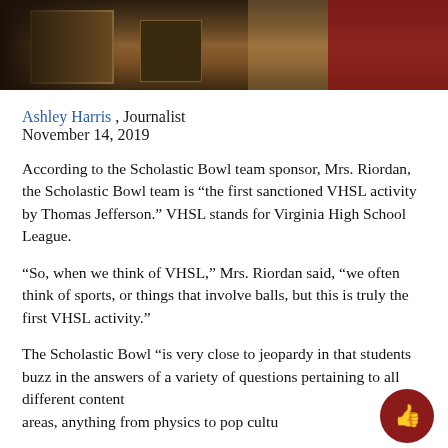[Figure (photo): Cropped school/classroom photo showing wooden furniture and a person wearing a red top in the background]
Ashley Harris , Journalist
November 14, 2019
According to the Scholastic Bowl team sponsor, Mrs. Riordan, the Scholastic Bowl team is “the first sanctioned VHSL activity by Thomas Jefferson.” VHSL stands for Virginia High School League.
“So, when we think of VHSL,” Mrs. Riordan said, “we often think of sports, or things that involve balls, but this is truly the first VHSL activity.”
The Scholastic Bowl “is very close to jeopardy in that students buzz in the answers of a variety of questions pertaining to all different content areas, anything from physics to pop culture